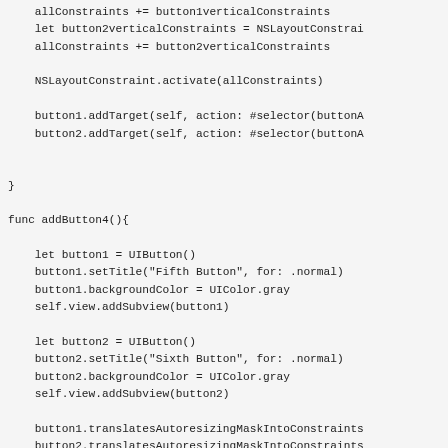let button1verticalConstraints = NSLayoutConstra...
    allConstraints += button1verticalConstraints
    let button2verticalConstraints = NSLayoutConstrai...
    allConstraints += button2verticalConstraints

    NSLayoutConstraint.activate(allConstraints)

    button1.addTarget(self, action: #selector(buttonA...
    button2.addTarget(self, action: #selector(buttonA...


}

func addButton4(){

    let button1 = UIButton()
    button1.setTitle("Fifth Button", for: .normal)
    button1.backgroundColor = UIColor.gray
    self.view.addSubview(button1)

    let button2 = UIButton()
    button2.setTitle("Sixth Button", for: .normal)
    button2.backgroundColor = UIColor.gray
    self.view.addSubview(button2)

    button1.translatesAutoresizingMaskIntoConstraints...
    button2.translatesAutoresizingMaskIntoConstraints...
    var allConstraints: [NSLayoutConstraint] = [...]